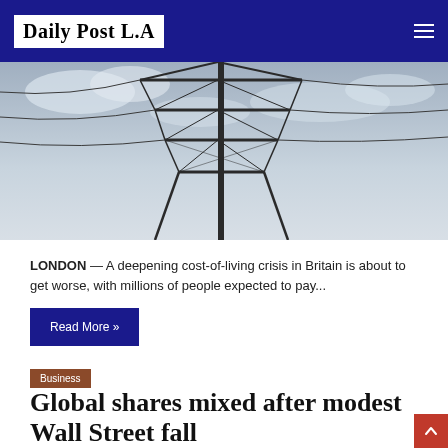Daily Post L.A
[Figure (photo): Looking up at a tall electrical transmission tower (pylon) against a cloudy sky, with power lines visible.]
LONDON — A deepening cost-of-living crisis in Britain is about to get worse, with millions of people expected to pay...
Read More »
Business
Global shares mixed after modest Wall Street fall
1 week ago
[Figure (photo): Partially visible hero image at the bottom of the page, light gray placeholder.]